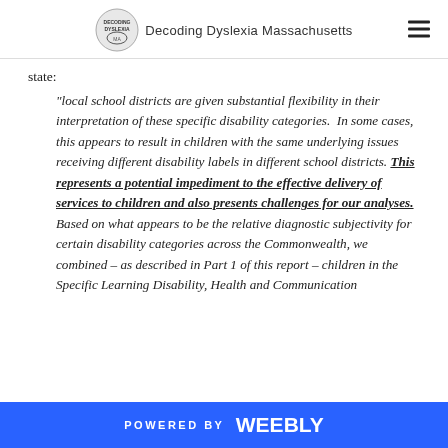Decoding Dyslexia Massachusetts
state:
"local school districts are given substantial flexibility in their interpretation of these specific disability categories.  In some cases, this appears to result in children with the same underlying issues receiving different disability labels in different school districts. This represents a potential impediment to the effective delivery of services to children and also presents challenges for our analyses. Based on what appears to be the relative diagnostic subjectivity for certain disability categories across the Commonwealth, we combined – as described in Part 1 of this report – children in the Specific Learning Disability, Health and Communication
POWERED BY weebly